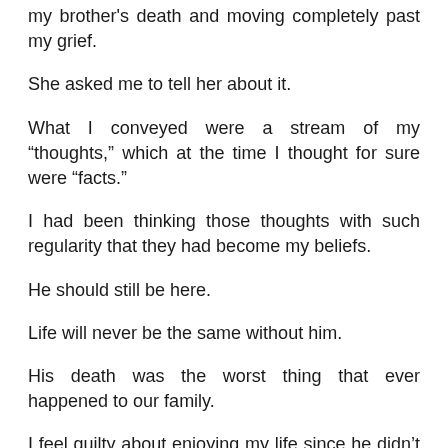my brother's death and moving completely past my grief.
She asked me to tell her about it.
What I conveyed were a stream of my “thoughts,” which at the time I thought for sure were “facts.”
I had been thinking those thoughts with such regularity that they had become my beliefs.
He should still be here.
Life will never be the same without him.
His death was the worst thing that ever happened to our family.
I feel guilty about enjoying my life since he didn’t have his anymore.
I felt guilty about all the things in retrospect I felt I should have done differently in our relationship.